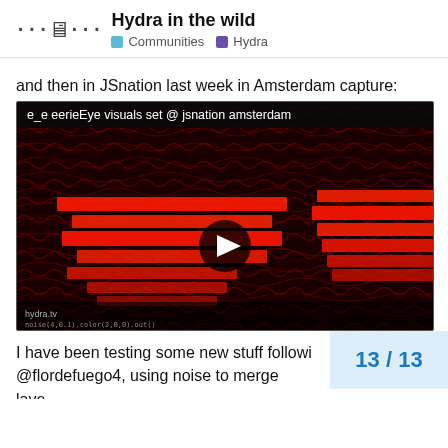Hydra in the wild — Communities · Hydra
and then in JSnation last week in Amsterdam capture:
[Figure (screenshot): Video thumbnail showing abstract red wavy interference pattern visuals. Title bar reads: e_e eerieEye visuals set @ jsnation amsterdam. A play button is centered on the dark video image.]
I have been been testing some new stuff following @flordefuego4, using noise to merge laye